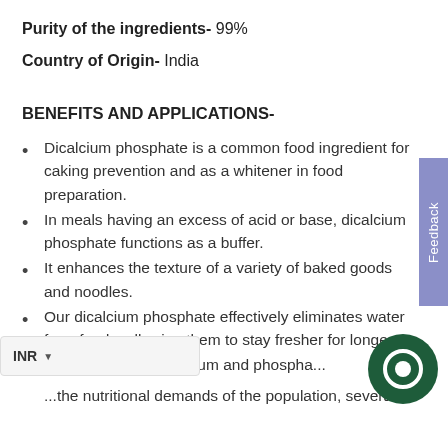Purity of the ingredients- 99%
Country of Origin- India
BENEFITS AND APPLICATIONS-
Dicalcium phosphate is a common food ingredient for caking prevention and as a whitener in food preparation.
In meals having an excess of acid or base, dicalcium phosphate functions as a buffer.
It enhances the texture of a variety of baked goods and noodles.
Our dicalcium phosphate effectively eliminates water from foods, allowing them to stay fresher for longer.
...ellent source of calcium and phospha...
...the nutritional demands of the population, several